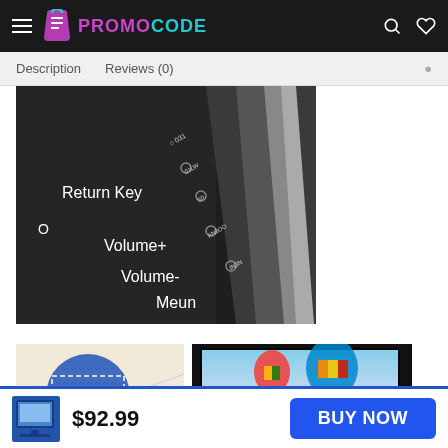PROMOCODE
Description   Reviews (0)
[Figure (photo): Close-up photo of a black remote control showing button labels: Return Key, Volume+, Volume-, Meun]
[Figure (photo): Two product images: left shows a circular vesa mount diagram labeled 75x75mm on beige background; right shows a monitor/display with hot air balloons on screen]
$92.99
BUY NOW